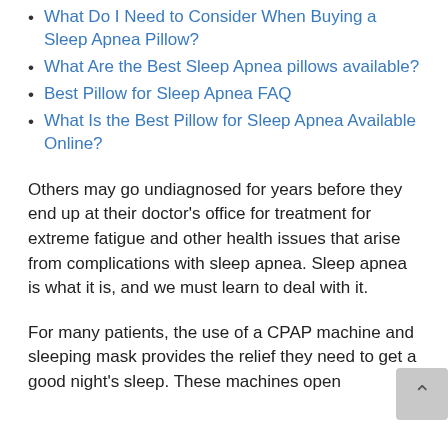What Do I Need to Consider When Buying a Sleep Apnea Pillow?
What Are the Best Sleep Apnea pillows available?
Best Pillow for Sleep Apnea FAQ
What Is the Best Pillow for Sleep Apnea Available Online?
Others may go undiagnosed for years before they end up at their doctor’s office for treatment for extreme fatigue and other health issues that arise from complications with sleep apnea. Sleep apnea is what it is, and we must learn to deal with it.
For many patients, the use of a CPAP machine and sleeping mask provides the relief they need to get a good night’s sleep. These machines open